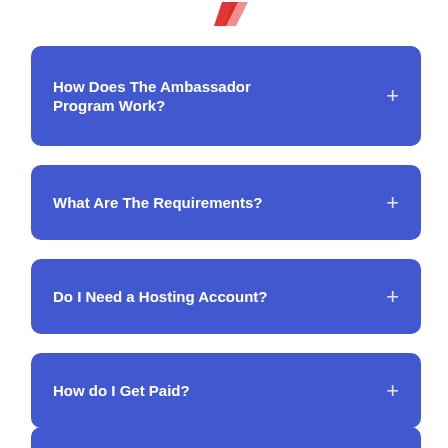[Figure (logo): Red partial logo/checkmark icon at top center]
How Does The Ambassador Program Work?
What Are The Requirements?
Do I Need a Hosting Account?
How do I Get Paid?
I Don't Know How to Drive Traffic.